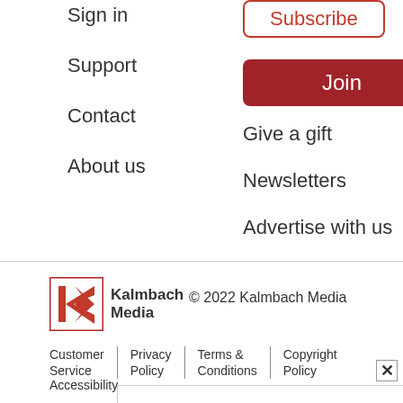Sign in
Subscribe
Support
Join
Contact
Give a gift
About us
Newsletters
Advertise with us
[Figure (logo): Kalmbach Media logo — red K on white square background with red border]
© 2022 Kalmbach Media
Customer Service | Privacy Policy | Terms & Conditions | Copyright Policy
Accessibility
[Figure (infographic): Advertisement banner: The perfect gift, 35% OFF + FREE SHIPPING]